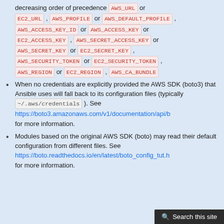decreasing order of precedence AWS_URL or EC2_URL , AWS_PROFILE or AWS_DEFAULT_PROFILE , AWS_ACCESS_KEY_ID or AWS_ACCESS_KEY or EC2_ACCESS_KEY , AWS_SECRET_ACCESS_KEY or AWS_SECRET_KEY or EC2_SECRET_KEY , AWS_SECURITY_TOKEN or EC2_SECURITY_TOKEN , AWS_REGION or EC2_REGION , AWS_CA_BUNDLE
When no credentials are explicitly provided the AWS SDK (boto3) that Ansible uses will fall back to its configuration files (typically ~/.aws/credentials ). See https://boto3.amazonaws.com/v1/documentation/api/b for more information.
Modules based on the original AWS SDK (boto) may read their default configuration from different files. See https://boto.readthedocs.io/en/latest/boto_config_tut.h for more information.